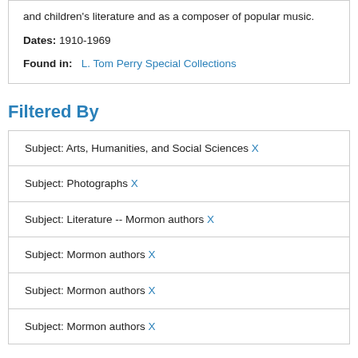and children's literature and as a composer of popular music.
Dates: 1910-1969
Found in: L. Tom Perry Special Collections
Filtered By
Subject: Arts, Humanities, and Social Sciences X
Subject: Photographs X
Subject: Literature -- Mormon authors X
Subject: Mormon authors X
Subject: Mormon authors X
Subject: Mormon authors X